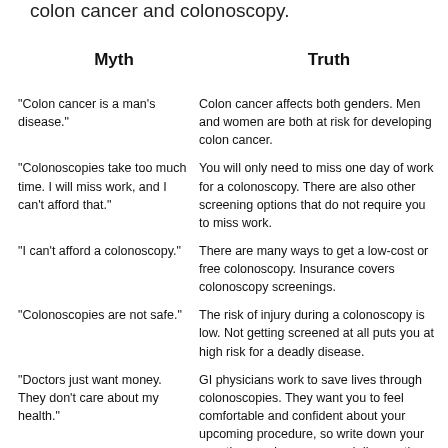colon cancer and colonoscopy.
Myth
Truth
Myth: "Colon cancer is a man's disease." | Truth: Colon cancer affects both genders. Men and women are both at risk for developing colon cancer.
Myth: "Colonoscopies take too much time. I will miss work, and I can't afford that." | Truth: You will only need to miss one day of work for a colonoscopy. There are also other screening options that do not require you to miss work.
Myth: "I can't afford a colonoscopy." | Truth: There are many ways to get a low-cost or free colonoscopy. Insurance covers colonoscopy screenings.
Myth: "Colonoscopies are not safe." | Truth: The risk of injury during a colonoscopy is low. Not getting screened at all puts you at high risk for a deadly disease.
Myth: "Doctors just want money. They don't care about my health." | Truth: GI physicians work to save lives through colonoscopies. They want you to feel comfortable and confident about your upcoming procedure, so write down your questions and concerns and discuss them with your provider.
GI physicians and their teams